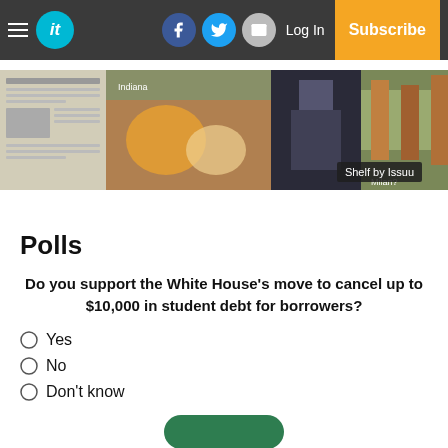it — Log In | Subscribe
[Figure (screenshot): Shelf of magazine cover thumbnails with 'Shelf by Issuu' label]
Polls
Do you support the White House's move to cancel up to $10,000 in student debt for borrowers?
Yes
No
Don't know